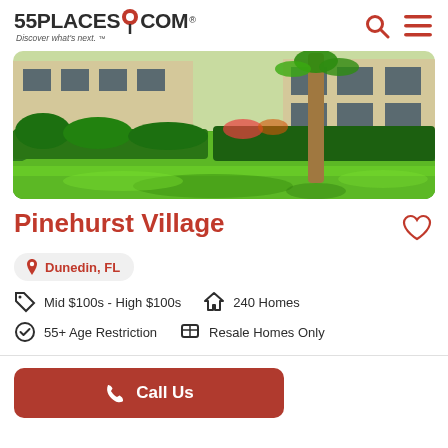55PLACES.COM Discover what's next.
[Figure (photo): Exterior photo of Pinehurst Village community showing green lawn, palm tree, and residential building with landscaped hedges and trees]
Pinehurst Village
Dunedin, FL
Mid $100s - High $100s   240 Homes
55+ Age Restriction   Resale Homes Only
Call Us